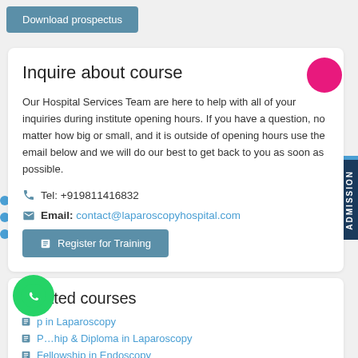Download prospectus
Inquire about course
Our Hospital Services Team are here to help with all of your inquiries during institute opening hours. If you have a question, no matter how big or small, and it is outside of opening hours use the email below and we will do our best to get back to you as soon as possible.
Tel: +919811416832
Email: contact@laparoscopyhospital.com
Register for Training
Related courses
Fellowship in Laparoscopy
Fellowship & Diploma in Laparoscopy
Fellowship in Endoscopy